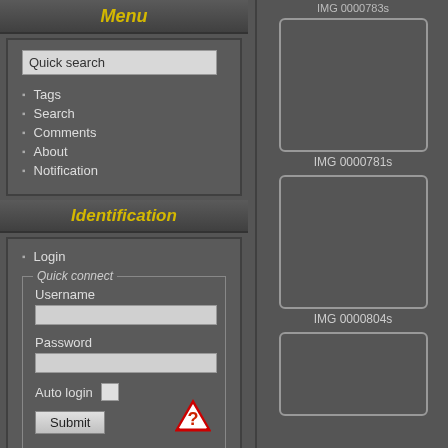Menu
Quick search
Tags
Search
Comments
About
Notification
Identification
Login
Quick connect
Username
Password
Auto login
Submit
IMG 0000781s
IMG 0000804s